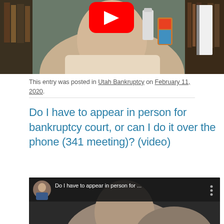[Figure (screenshot): YouTube video thumbnail showing a man in a light-colored shirt sitting in front of a bookshelf, with the YouTube play button logo visible at the top center]
This entry was posted in Utah Bankruptcy on February 11, 2020.
Do I have to appear in person for bankruptcy court, or can I do it over the phone (341 meeting)? (video)
[Figure (screenshot): YouTube video embed showing a man appearing in a video titled 'Do I have to appear in person for...' with a circular avatar thumbnail and three-dot menu icon]